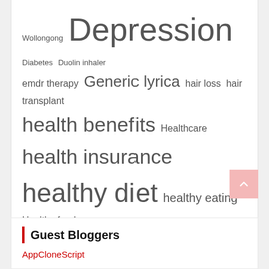[Figure (infographic): Tag cloud with health/medical terms in varying font sizes indicating frequency/popularity. Terms include: Wollongong, Depression, Diabetes, Duolin inhaler, emdr therapy, Generic lyrica, hair loss, hair transplant, health benefits, Healthcare, health insurance, healthy diet, healthy eating, Healthy food, healthy lifestyle, herbal tea, immune system, Keto Diet, lose weight, Mental Health, modalert 200, nervigesic, painosoma, pharmacy delivery app, physical activity, physical fitness, physical health, pregarica, Seroflo Inhaler, Vilafinil 200mg, weight loss, weight reduction, yoga teacher]
Guest Bloggers
AppCloneScript